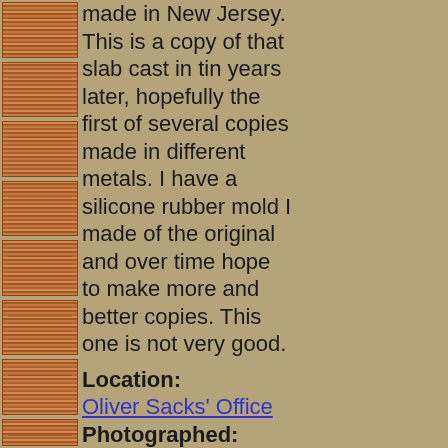[Figure (photo): Thumbnail images of a wooden/metallic slab arranged vertically on the left strip]
made in New Jersey. This is a copy of that slab cast in tin years later, hopefully the first of several copies made in different metals. I have a silicone rubber mold I made of the original and over time hope to make more and better copies. This one is not very good.
Location: Oliver Sacks' Office
Photographed: 28 February, 2009
Text Updated: 16 March, 2009
Size: 2.5"